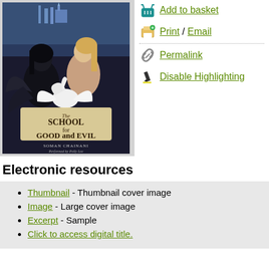[Figure (illustration): Book cover for 'The School for Good and Evil' by Soman Chainani, performed by Polly Lee. Shows two girls (one with black hair, one with blonde hair) and a white swan against a dark fantasy castle background.]
Add to basket
Print / Email
Permalink
Disable Highlighting
Electronic resources
Thumbnail - Thumbnail cover image
Image - Large cover image
Excerpt - Sample
Click to access digital title.